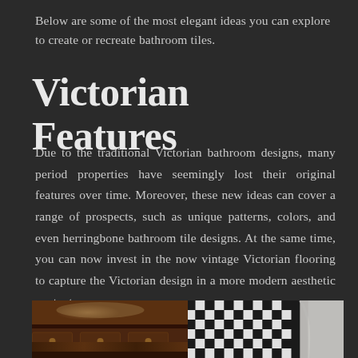Below are some of the most elegant ideas you can explore to create or recreate bathroom tiles.
Victorian Features
Due to the traditional Victorian bathroom designs, many period properties have seemingly lost their original features over time. Moreover, these new ideas can cover a range of prospects, such as unique patterns, colors, and even herringbone bathroom tile designs. At the same time, you can now invest in the now vintage Victorian flooring to capture the Victorian design in a more modern aesthetic context.
[Figure (photo): Two side-by-side photos: left shows a dark wooden Victorian dresser/furniture piece with carved details; right shows a black and white geometric patterned floor tile in Victorian style with a white curved architectural element (likely a column base or bath).]